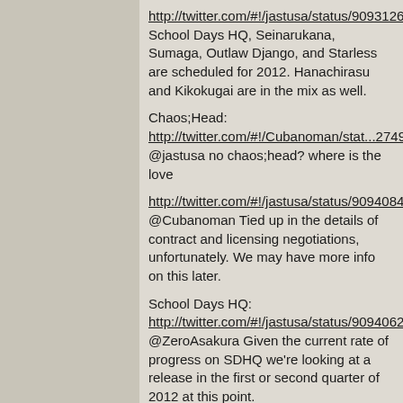http://twitter.com/#!/jastusa/status/90931261081788416
School Days HQ, Seinarukana, Sumaga, Outlaw Django, and Starless are scheduled for 2012. Hanachirasu and Kikokugai are in the mix as well.
Chaos;Head:
http://twitter.com/#!/Cubanoman/stat...27497495064576
@jastusa no chaos;head? where is the love
http://twitter.com/#!/jastusa/status/90940847851442176
@Cubanoman Tied up in the details of contract and licensing negotiations, unfortunately. We may have more info on this later.
School Days HQ:
http://twitter.com/#!/jastusa/status/90940629328211968
@ZeroAsakura Given the current rate of progress on SDHQ we're looking at a release in the first or second quarter of 2012 at this point.
http://twitter.com/#!/jastusa/status/90934732409409536
@michelous This will be determined by the extras package we can assemble for the LE release, but likely won't exceed $50 USD.
Starless:
http://twitter.com/#!/jastusa/status/90936791070277632
@DekaThunder We're in the process of assessing the content in Starless, and if any changes are needed